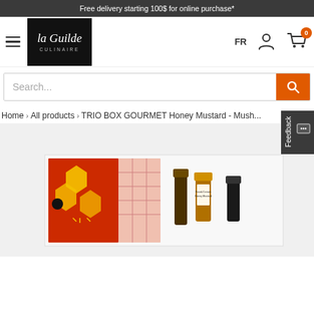Free delivery starting 100$ for online purchase*
[Figure (logo): La Guilde Culinaire logo — white script text on black background with border]
FR
[Figure (screenshot): Search bar with orange search button]
Home > All products > TRIO BOX GOURMET Honey Mustard - Mush...
[Figure (photo): TRIO BOX GOURMET product box with honeycomb pattern and small condiment bottles visible]